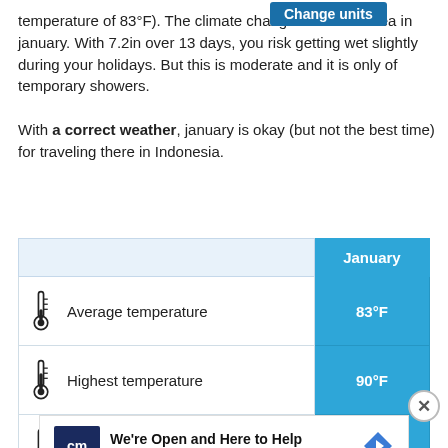temperature of 83°F). The climate change hurts that area in january. With 7.2in over 13 days, you risk getting wet slightly during your holidays. But this is moderate and it is only of temporary showers. With a correct weather, january is okay (but not the best time) for traveling there in Indonesia.
|  | January |
| --- | --- |
| Average temperature | 83°F |
| Highest temperature | 90°F |
| Lowest temperature | 76°F |
[Figure (other): CarMax advertisement: We're Open and Here to Help, CarMax logo with navigation arrow icon]